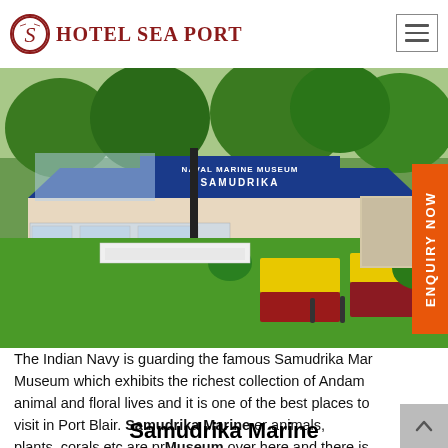Hotel Sea Port
[Figure (photo): Exterior of Samudrika Naval Marine Museum in Port Blair, showing the blue-roofed building with 'Naval Marine Museum Samudrika' signage, surrounded by manicured colorful flower gardens and outdoor display cases.]
Samudrika Marine Museum
The Indian Navy is guarding the famous Samudrika Marine Museum which exhibits the richest collection of Andaman animal and floral lives and it is one of the best places to visit in Port Blair. There are species of fish, other animals, plants, corals etc are preserved all over here and there is a small aquarium also. Rather, the different attraction on the island is this museum if you are completed visiting the beaches and the relishing islands.